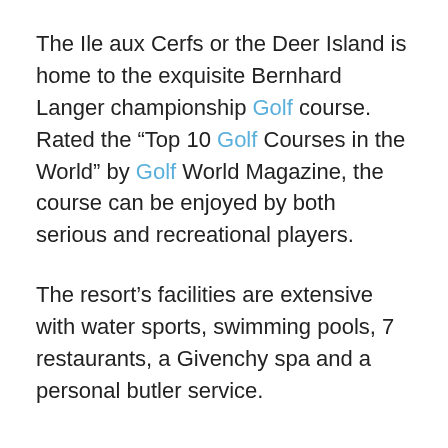The Ile aux Cerfs or the Deer Island is home to the exquisite Bernhard Langer championship Golf course.  Rated the “Top 10 Golf Courses in the World” by Golf World Magazine, the course can be enjoyed by both serious and recreational players.
The resort’s facilities are extensive with water sports, swimming pools, 7 restaurants, a Givenchy spa and a personal butler service.
Pan Pacific Nirwana Bali Resort & Nirwana Bali Golf Course
Bali, Indonesia
Attached to the 5 Star Nirwana Bali Pan Pacific